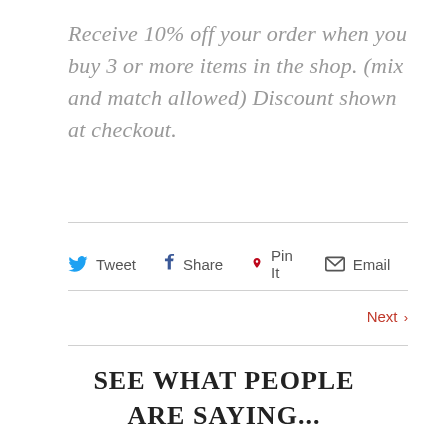Receive 10% off your order when you buy 3 or more items in the shop. (mix and match allowed) Discount shown at checkout.
Tweet  Share  Pin It  Email
Next >
SEE WHAT PEOPLE ARE SAYING...